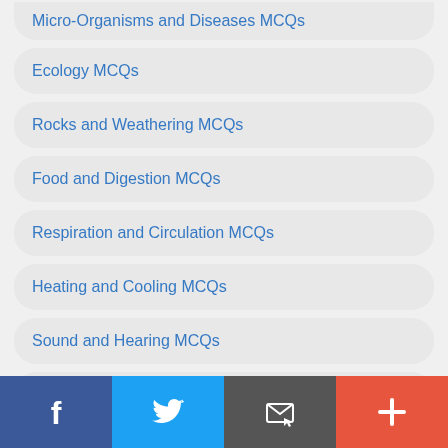Micro-Organisms and Diseases MCQs
Ecology MCQs
Rocks and Weathering MCQs
Food and Digestion MCQs
Respiration and Circulation MCQs
Heating and Cooling MCQs
Sound and Hearing MCQs
Man Impact on Ecosystem MCQs
Food Chains and Webs MCQs
Facebook | Twitter | Email | More